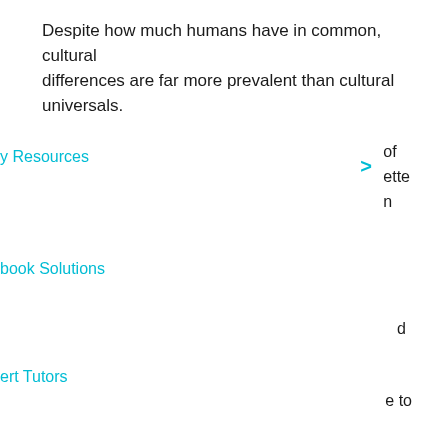Despite how much humans have in common, cultural differences are far more prevalent than cultural universals.
y Resources
of
ette
n
book Solutions
d
ert Tutors
e to
is
Educators
n
,
up